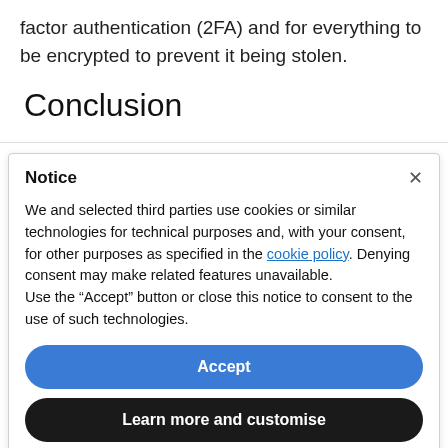factor authentication (2FA) and for everything to be encrypted to prevent it being stolen.
Conclusion
Notice
We and selected third parties use cookies or similar technologies for technical purposes and, with your consent, for other purposes as specified in the cookie policy. Denying consent may make related features unavailable.
Use the “Accept” button or close this notice to consent to the use of such technologies.
Accept
Learn more and customise